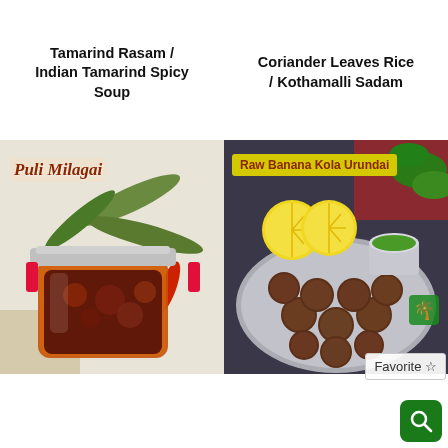Tamarind Rasam / Indian Tamarind Spicy Soup
Coriander Leaves Rice / Kothamalli Sadam
[Figure (photo): Photo of Puli Milagai - tamarind chili pickle in a glass jar with green chilies and red chili on white background, with text overlay 'Puli Milagai']
[Figure (photo): Photo of Raw Banana Kola Urundai - fried banana balls on a silver plate with lemon halves and green chutney, with text overlay 'Raw Banana Kola Urundai'. Has Favorite star button and search magnifier icon overlaid.]